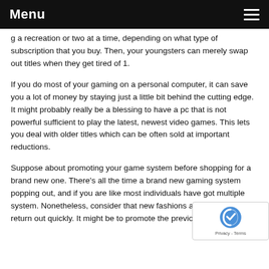Menu
a recreation or two at a time, depending on what type of subscription that you buy. Then, your youngsters can merely swap out titles when they get tired of 1.
If you do most of your gaming on a personal computer, it can save you a lot of money by staying just a little bit behind the cutting edge. It might probably really be a blessing to have a pc that is not powerful sufficient to play the latest, newest video games. This lets you deal with older titles which can be often sold at important reductions.
Suppose about promoting your game system before shopping for a brand new one. There's all the time a brand new gaming system popping out, and if you are like most individuals have got multiple system. Nonetheless, consider that new fashions are doubtless to return out quickly. It might be to promote the previous ones and wait.